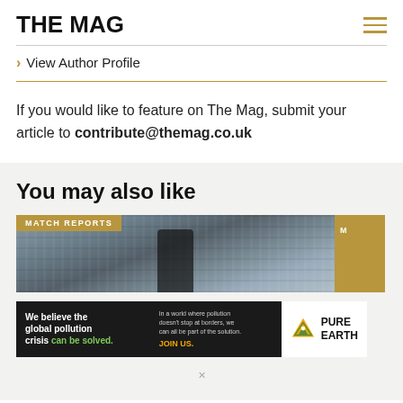THE MAG
View Author Profile
If you would like to feature on The Mag, submit your article to contribute@themag.co.uk
You may also like
[Figure (photo): Match reports article card with crowd photo and gold banner]
[Figure (infographic): Pure Earth advertisement banner: We believe the global pollution crisis can be solved.]